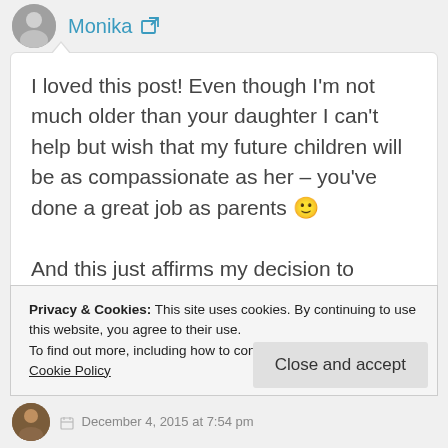Monika
I loved this post! Even though I'm not much older than your daughter I can't help but wish that my future children will be as compassionate as her – you've done a great job as parents 🙂

And this just affirms my decision to donate money instead of buying Christmas gifts this year. Thank you for the inspiration 🙂
Privacy & Cookies: This site uses cookies. By continuing to use this website, you agree to their use.
To find out more, including how to control cookies, see here: Cookie Policy
Close and accept
December 4, 2015 at 7:54 pm